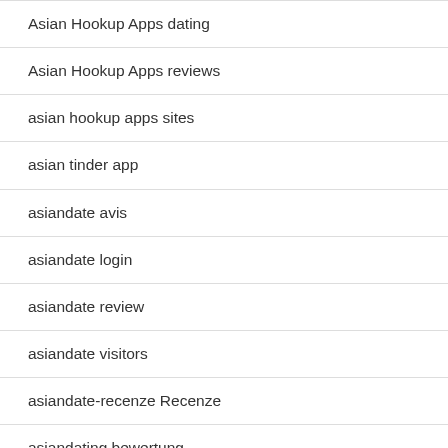Asian Hookup Apps dating
Asian Hookup Apps reviews
asian hookup apps sites
asian tinder app
asiandate avis
asiandate login
asiandate review
asiandate visitors
asiandate-recenze Recenze
asiandating bewertung
asiandating connexion